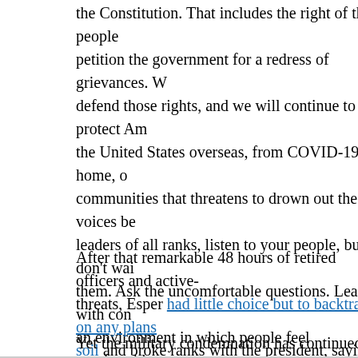the Constitution. That includes the right of the people to petition the government for a redress of grievances. W defend those rights, and we will continue to protect Am the United States overseas, from COVID-19 at home, o communities that threatens to drown out the voices be leaders of all ranks, listen to your people, but don't wai them. Ask the uncomfortable questions. Lead with con an environment in which people feel comfortable expre first to set the example. We are listening. And we will c as we are leading the Army. Because people are our gre
After that remarkable 48 hours of retired officers and active- threats, Esper had little choice but to backtrack on any plans soil and broke ranks with the president, saying that he now b be put into American cities. Trump was predictably livid ove denouncing Mattis and others in tweets and apparently cons
Yet the military condemnation has continued. General Doug